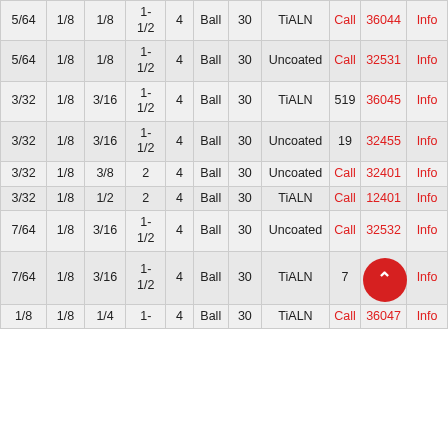| 5/64 | 1/8 | 1/8 | 1-1/2 | 4 | Ball | 30 | TiALN | Call | 36044 | Info |
| 5/64 | 1/8 | 1/8 | 1-1/2 | 4 | Ball | 30 | Uncoated | Call | 32531 | Info |
| 3/32 | 1/8 | 3/16 | 1-1/2 | 4 | Ball | 30 | TiALN | 519 | 36045 | Info |
| 3/32 | 1/8 | 3/16 | 1-1/2 | 4 | Ball | 30 | Uncoated | 19 | 32455 | Info |
| 3/32 | 1/8 | 3/8 | 2 | 4 | Ball | 30 | Uncoated | Call | 32401 | Info |
| 3/32 | 1/8 | 1/2 | 2 | 4 | Ball | 30 | TiALN | Call | 12401 | Info |
| 7/64 | 1/8 | 3/16 | 1-1/2 | 4 | Ball | 30 | Uncoated | Call | 32532 | Info |
| 7/64 | 1/8 | 3/16 | 1-1/2 | 4 | Ball | 30 | TiALN | 7 | [scroll] | Info |
| 1/8 | 1/8 | 1/4 | 1- | 4 | Ball | 30 | TiALN | Call | 36047 | Info |